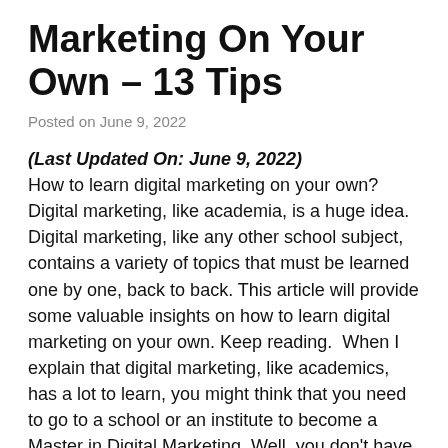Marketing On Your Own – 13 Tips
Posted on June 9, 2022
(Last Updated On: June 9, 2022) How to learn digital marketing on your own? Digital marketing, like academia, is a huge idea. Digital marketing, like any other school subject, contains a variety of topics that must be learned one by one, back to back. This article will provide some valuable insights on how to learn digital marketing on your own. Keep reading.  When I explain that digital marketing, like academics, has a lot to learn, you might think that you need to go to a school or an institute to become a Master in Digital Marketing. Well, you don't have to.